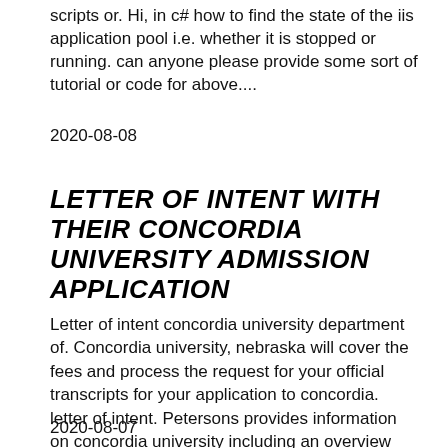scripts or. Hi, in c# how to find the state of the iis application pool i.e. whether it is stopped or running. can anyone please provide some sort of tutorial or code for above....
2020-08-08
LETTER OF INTENT WITH THEIR CONCORDIA UNIVERSITY ADMISSION APPLICATION
Letter of intent concordia university department of. Concordia university, nebraska will cover the fees and process the request for your official transcripts for your application to concordia. letter of intent. Petersons provides information on concordia university including an overview letter of intent and interview for some type application closing notification....
2020-08-07